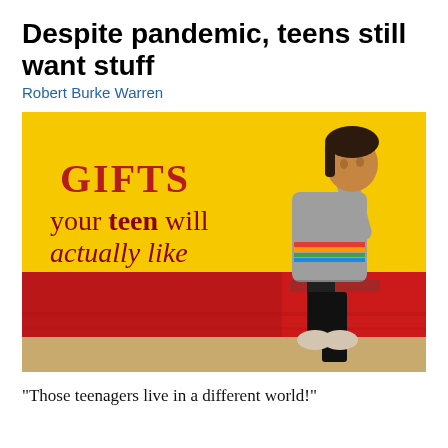Despite pandemic, teens still want stuff
Robert Burke Warren
[Figure (photo): A teenage girl sitting on a painted wall with a yellow upper section and red lower section. The wall has text reading 'GIFTS your teen will actually like' in red and dark red letters. The teen is wearing a gray and rainbow-striped hoodie with black pants and white sneakers.]
“Those teenagers live in a different world!”